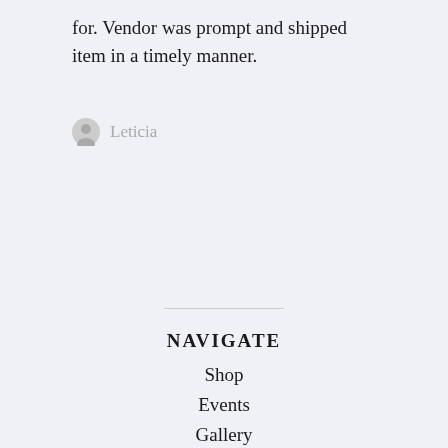for. Vendor was prompt and shipped item in a timely manner.
Leticia
NAVIGATE
Shop
Events
Gallery
Shipping and Policies
Contact Us